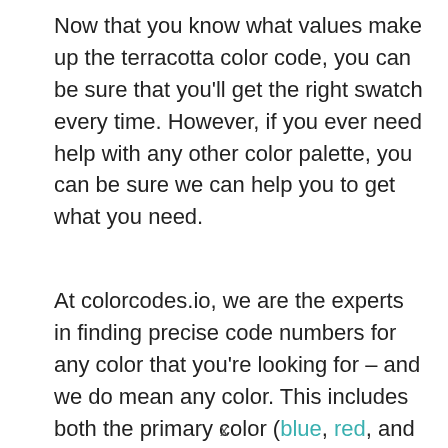Now that you know what values make up the terracotta color code, you can be sure that you'll get the right swatch every time. However, if you ever need help with any other color palette, you can be sure we can help you to get what you need.
At colorcodes.io, we are the experts in finding precise code numbers for any color that you're looking for – and we do mean any color. This includes both the primary color (blue, red, and yellow swatches) and the secondary color (orange, purple, and green swatches) spectrums for HEX, RGB, CMYK, and PMS color codes.
Ready to get started? Simply check out our site to begin learning more. We're sure we have every color code for all of your needs!
x